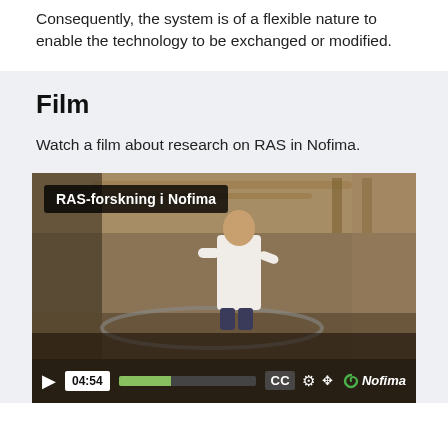Consequently, the system is of a flexible nature to enable the technology to be exchanged or modified.
Film
Watch a film about research on RAS in Nofima.
[Figure (screenshot): Video player showing a scientist in a white lab coat in a recirculating aquaculture system (RAS) facility. The video title bar reads 'RAS-forskning i Nofima'. Controls show play button, time display 04:54, progress bar, CC button, settings gear, fullscreen icon, and Nofima logo.]